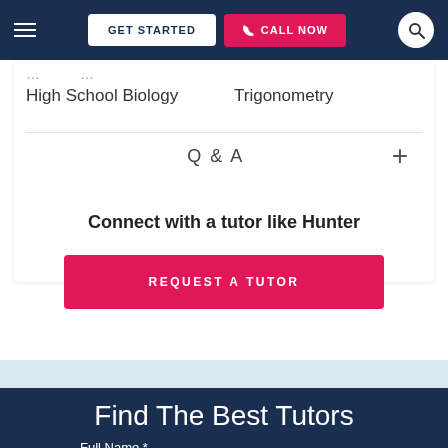GET STARTED | CALL NOW
High School Biology
Trigonometry
Q & A
Connect with a tutor like Hunter
REQUEST A TUTOR
Find The Best Tutors
Full Name *